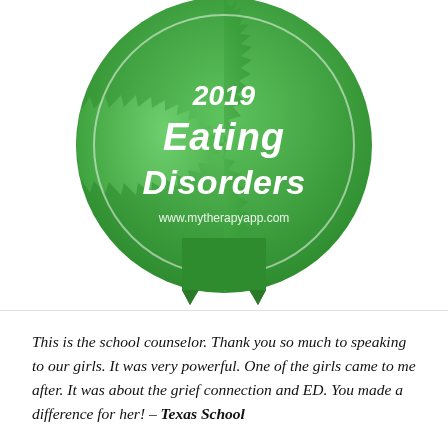[Figure (logo): Green scalloped/starburst badge seal for 2019 Eating Disorders award from www.mytherapyapp.com, with a dark green ribbon hanging below]
This is the school counselor. Thank you so much to speaking to our girls. It was very powerful. One of the girls came to me after. It was about the grief connection and ED. You made a difference for her! – Texas School